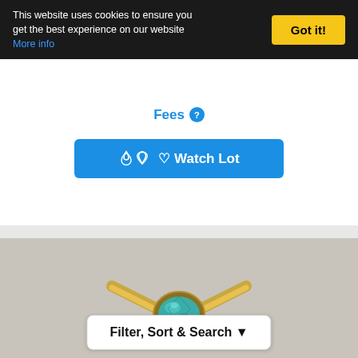This website uses cookies to ensure you get the best experience on our website More info
Got it!
Fees
Watch Lot
[Figure (photo): Gold ring with oval teal/green gemstone set in a yellow gold bezel setting with decorative split-shank band, photographed on a gray background]
Filter, Sort & Search